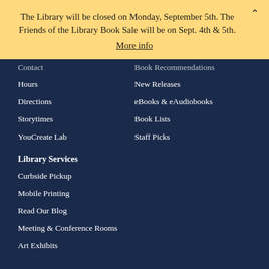The Library will be closed on Monday, September 5th. The Friends of the Library Book Sale will be on Sept. 4th & 5th.
More info
Contact
Hours
Directions
Storytimes
YouCreate Lab
Book Recommendations
New Releases
eBooks & eAudiobooks
Book Lists
Staff Picks
Library Services
Curbside Pickup
Mobile Printing
Read Our Blog
Meeting & Conference Rooms
Art Exhibits
© 2022 Park City Library. All rights reserved.   Privacy